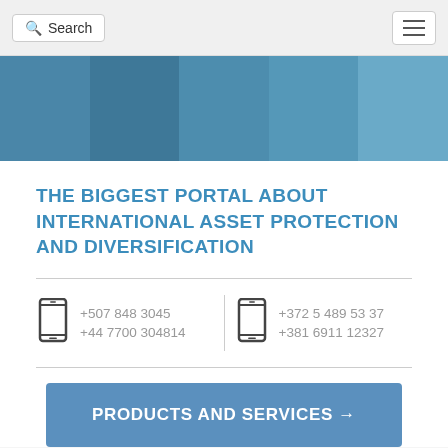Search
[Figure (illustration): Blue mosaic banner with five rectangular segments in varying shades of steel blue, serving as a decorative header image.]
THE BIGGEST PORTAL ABOUT INTERNATIONAL ASSET PROTECTION AND DIVERSIFICATION
+507 848 3045
+44 7700 304814
+372 5 489 53 37
+381 6911 12327
PRODUCTS AND SERVICES →